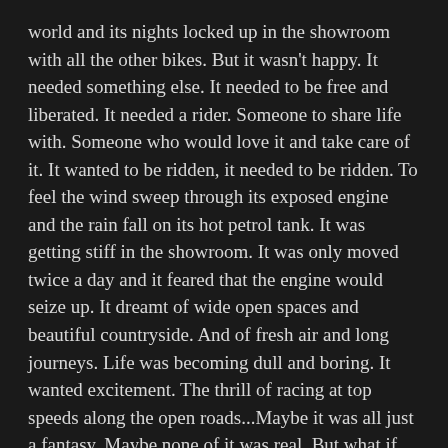world and its nights locked up in the showroom with all the other bikes. But it wasn't happy. It needed something else. It needed to be free and liberated. It needed a rider. Someone to share life with. Someone who would love it and take care of it. It wanted to be ridden, it needed to be ridden. To feel the wind sweep through its exposed engine and the rain fall on its hot petrol tank. It was getting stiff in the showroom. It was only moved twice a day and it feared that the engine would seize up. It dreamt of wide open spaces and beautiful countryside. And of fresh air and long journeys. Life was becoming dull and boring. It wanted excitement. The thrill of racing at top speeds along the open roads...Maybe it was all just a fantasy. Maybe none of it was real. But what if dreams really do come true?
The bike was bought by a young lad of nineteen. All the bike's prayers and wishes had been answered.